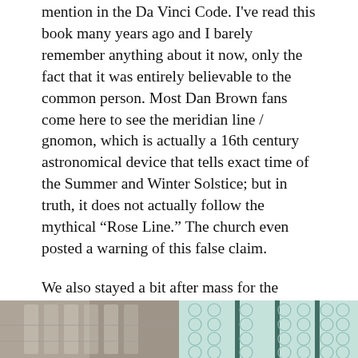mention in the Da Vinci Code. I've read this book many years ago and I barely remember anything about it now, only the fact that it was entirely believable to the common person. Most Dan Brown fans come here to see the meridian line / gnomon, which is actually a 16th century astronomical device that tells exact time of the Summer and Winter Solstice; but in truth, it does not actually follow the mythical “Rose Line.” The church even posted a warning of this false claim.
We also stayed a bit after mass for the organ concerto. Pardon my untrained ear, but it sounded to me like the kind of music one would play in a film while Dracula is about to bite into the fleshy bosom of a young maiden. Or something like that.
One of the world’s largest pipe organs- with 6,700 pipes; Saint Jean Baptiste de la Salle, founder of mon école
[Figure (photo): Left photo: close-up of pipe organ pipes or stone architectural detail in grey tones]
[Figure (photo): Right photo: close-up of a green/teal tiled or mesh architectural pattern with dark vertical bars]